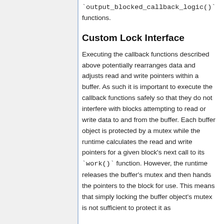`output_blocked_callback_logic()` functions.
Custom Lock Interface
Executing the callback functions described above potentially rearranges data and adjusts read and write pointers within a buffer. As such it is important to execute the callback functions safely so that they do not interfere with blocks attempting to read or write data to and from the buffer. Each buffer object is protected by a mutex while the runtime calculates the read and write pointers for a given block's next call to its `work()` function. However, the runtime releases the buffer's mutex and then hands the pointers to the block for use. This means that simply locking the buffer object's mutex is not sufficient to protect it as